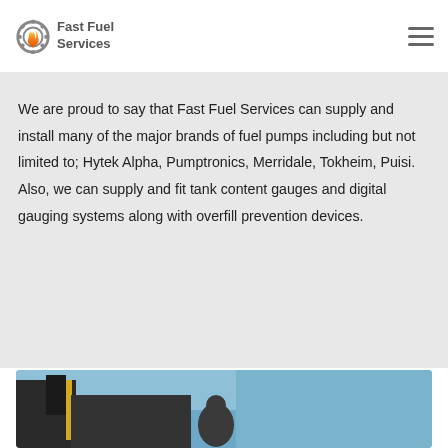comes to fuel pump and tank management Fast Fuel Services have you covered
[Figure (logo): Fast Fuel Services logo with flame/gear icon and company name]
We are proud to say that Fast Fuel Services can supply and install many of the major brands of fuel pumps including but not limited to; Hytek Alpha, Pumptronics, Merridale, Tokheim, Puisi. Also, we can supply and fit tank content gauges and digital gauging systems along with overfill prevention devices.
[Figure (photo): Photo showing a fuel pump or related equipment against a blue sky background]